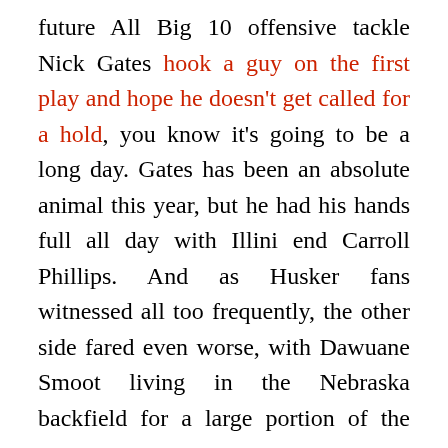future All Big 10 offensive tackle Nick Gates hook a guy on the first play and hope he doesn't get called for a hold, you know it's going to be a long day. Gates has been an absolute animal this year, but he had his hands full all day with Illini end Carroll Phillips. And as Husker fans witnessed all too frequently, the other side fared even worse, with Dawuane Smoot living in the Nebraska backfield for a large portion of the game.
Nevertheless, offensive coordinator Danny Langsdorf and his patchwork offensive line found just enough cards in the deck to play a few tricks on that impressive Illini line. In this write up, we'll take a look at a new play designed to put Gates in motion, and we'll touch base with another concept that the Huskers have